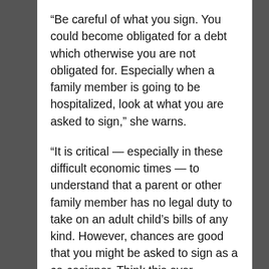“Be careful of what you sign. You could become obligated for a debt which otherwise you are not obligated for. Especially when a family member is going to be hospitalized, look at what you are asked to sign,” she warns.
“It is critical — especially in these difficult economic times — to understand that a parent or other family member has no legal duty to take on an adult child’s bills of any kind. However, chances are good that you might be asked to sign as a co-cosigner. Think this over carefully. Can you afford to pay thousands — or hundreds of thousands — of dollars in hospital bills? This can happen. Do not let your own personal well-being — or that of your own family — become compromised by taking on legal obligations you do not owe,” she concluded.